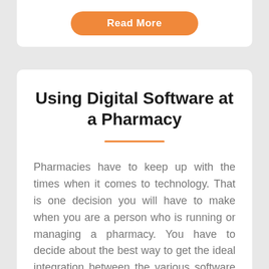[Figure (other): Orange 'Read More' button at top of page on white card background]
Using Digital Software at a Pharmacy
Pharmacies have to keep up with the times when it comes to technology. That is one decision you will have to make when you are a person who is running or managing a pharmacy. You have to decide about the best way to get the ideal integration between the various software that are available for...
[Figure (other): Orange 'Read More' button at bottom of page]